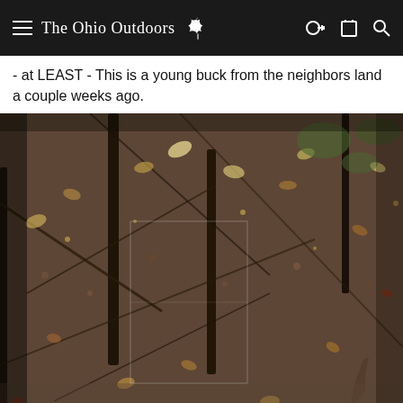The Ohio Outdoors
- at LEAST - This is a young buck from the neighbors land a couple weeks ago.
[Figure (photo): Trail camera photo of a young buck partially hidden among dense autumn forest undergrowth with fallen leaves covering the ground. The deer is barely visible camouflaged in the thick brush and branches.]